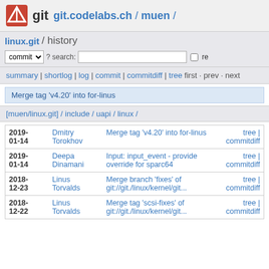git  git.codelabs.ch / muen /
linux.git / history  commit ? search:  re
summary | shortlog | log | commit | commitdiff | tree  first · prev · next
Merge tag 'v4.20' into for-linus
[muen/linux.git] / include / uapi / linux /
| Date | Author | Commit message | Actions |
| --- | --- | --- | --- |
| 2019-01-14 | Dmitry Torokhov | Merge tag 'v4.20' into for-linus | tree | commitdiff |
| 2019-01-14 | Deepa Dinamani | Input: input_event - provide override for sparc64 | tree | commitdiff |
| 2018-12-23 | Linus Torvalds | Merge branch 'fixes' of git://git./linux/kernel/git... | tree | commitdiff |
| 2018-12-22 | Linus Torvalds | Merge tag 'scsi-fixes' of git://git./linux/kernel/git... | tree | commitdiff |